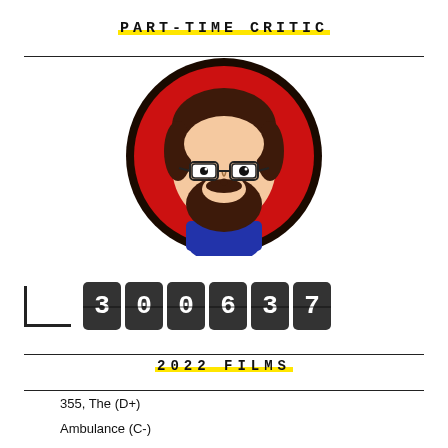PART-TIME CRITIC
[Figure (illustration): Cartoon avatar of a bearded man with glasses, dark hair, on a red circular background with black border, wearing a blue shirt]
300637
2022 FILMS
355, The (D+)
Ambulance (C-)
Batman, The (C)